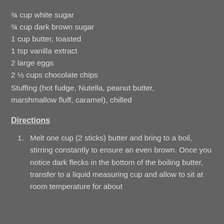¾ cup white sugar
¾ cup dark brown sugar
1 cup butter, toasted
1 tsp vanilla extract
2 large eggs
2 ½ cups chocolate chips
Stuffing (hot fudge, Nutella, peanut butter, marshmallow fluff, caramel), chilled
Directions
Melt one cup (2 sticks) butter and bring to a boil, stirring constantly to ensure an even brown. Once you notice dark flecks in the bottom of the boiling butter, transfer to a liquid measuring cup and allow to sit at room temperature for about